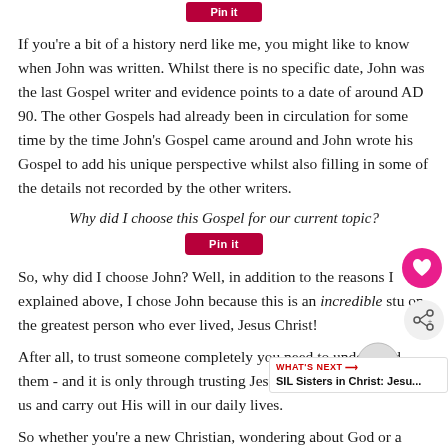[Figure (other): Red 'Pin it' button at top center of page]
If you're a bit of a history nerd like me, you might like to know when John was written. Whilst there is no specific date, John was the last Gospel writer and evidence points to a date of around AD 90. The other Gospels had already been in circulation for some time by the time John's Gospel came around and John wrote his Gospel to add his unique perspective whilst also filling in some of the details not recorded by the other writers.
Why did I choose this Gospel for our current topic?
[Figure (other): Red 'Pin it' button centered below cursive text]
So, why did I choose John? Well, in addition to the reasons I explained above, I chose John because this is an incredible study on the greatest person who ever lived, Jesus Christ!
After all, to trust someone completely you need to understand them - and it is only through trusting Jesus that we can understand His plan for us and carry out His will in our daily lives.
So whether you're a new Christian, wondering about God or a